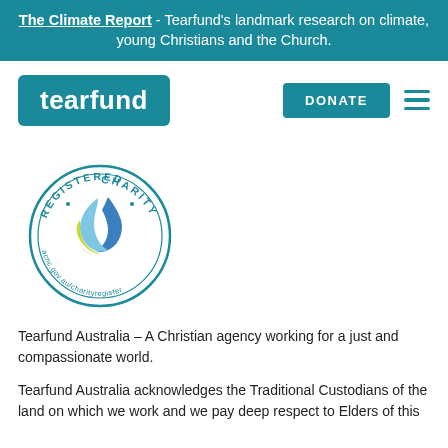The Climate Report - Tearfund's landmark research on climate, young Christians and the Church.
[Figure (logo): Tearfund logo — white text on teal rounded rectangle background]
[Figure (other): DONATE button — teal rectangle with white bold text]
[Figure (other): Hamburger menu icon — three teal horizontal lines]
[Figure (logo): ACNC Registered Charity circular seal with flame logo and text acnc.gov.au/charityregister]
Tearfund Australia – A Christian agency working for a just and compassionate world.
Tearfund Australia acknowledges the Traditional Custodians of the land on which we work and we pay deep respect to Elders of this